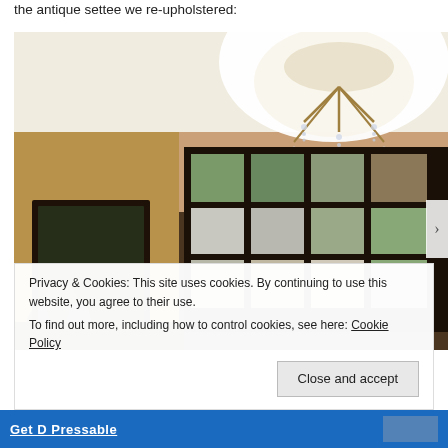the antique settee we re-upholstered:
[Figure (photo): Interior room photo showing a stained glass panel/window with multiple rectangular panes in green, grey, and brown tones mounted on a dark frame, a chandelier visible in the upper right, a dark-framed mirror on the left, and a plant in the lower left corner. Warm tan/ochre walls visible.]
Privacy & Cookies: This site uses cookies. By continuing to use this website, you agree to their use.
To find out more, including how to control cookies, see here: Cookie Policy
Close and accept
Get D Pressable